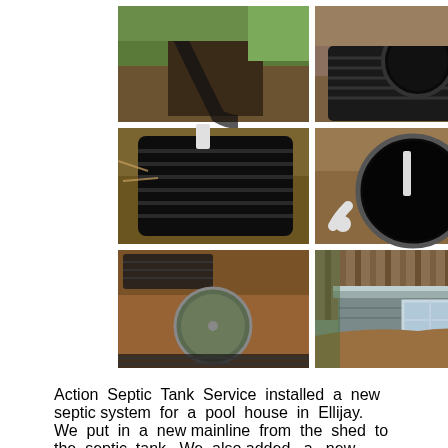[Figure (photo): Six construction photos showing septic system installation: drainage trench with piping, tank with open access port, tank being installed, tank interior view, buried tank lid visible in soil, and exterior view of pool house/shed.]
Action Septic Tank Service installed a new septic system for a pool house in Ellijay. We put in a new mainline from the shed to the septic tank. We also added a new 1000-gallon Infiltrator tank. We ran